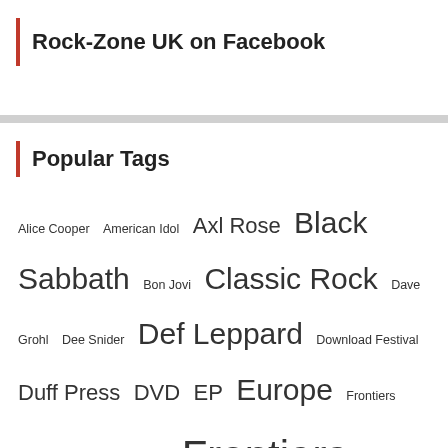Rock-Zone UK on Facebook
Popular Tags
Alice Cooper  American Idol  Axl Rose  Black Sabbath  Bon Jovi  Classic Rock  Dave Grohl  Dee Snider  Def Leppard  Download Festival  Duff Press  DVD  EP  Europe  Frontiers  Frontiers Music  Frontiers Records  Germany  Hard Rock Hell  Hard Rock Hell AOR  HRH AOR  Iron Maiden  KISS  Lars Ulrich  Little Angels  London  Los Angeles  Motley Crue  Nikki Sixx  Noble PR  Palmer Turner Overdrive  reunion  Skid Row  SOS Festival  Steel Panther  Steven Adler  The Railway  Thin Lizzy  Toby Jepson  TV  UK  US  Van Halen  Velvet Revolver  Wayward Sons